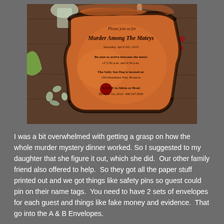[Figure (photo): A pirate-themed murder mystery party invitation on aged/burned parchment paper reading 'Please join us for Murder Among The Mateys, Saturday, April 9th, 2016'. Surrounding props include a glass bottle, coins, shells, red wax seal, and other party decorations on a wooden table.]
I was a bit overwhelmed with getting a grasp on how the whole murder mystery dinner worked. So I suggested to my daughter that she figure it out, which she did.  Our other family friend also offered to help.  So they got all the paper stuff printed out and we got things like safety pins so guest could pin on their name tags.  You need to have 2 sets of envelopes for each guest and things like fake money and evidence.  That go into the A & B Envelopes.